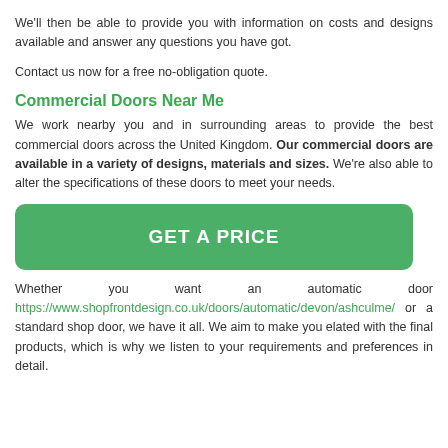We'll then be able to provide you with information on costs and designs available and answer any questions you have got.
Contact us now for a free no-obligation quote.
Commercial Doors Near Me
We work nearby you and in surrounding areas to provide the best commercial doors across the United Kingdom. Our commercial doors are available in a variety of designs, materials and sizes. We're also able to alter the specifications of these doors to meet your needs.
GET A PRICE
Whether you want an automatic door https://www.shopfrontdesign.co.uk/doors/automatic/devon/ashculme/ or a standard shop door, we have it all. We aim to make you elated with the final products, which is why we listen to your requirements and preferences in detail.